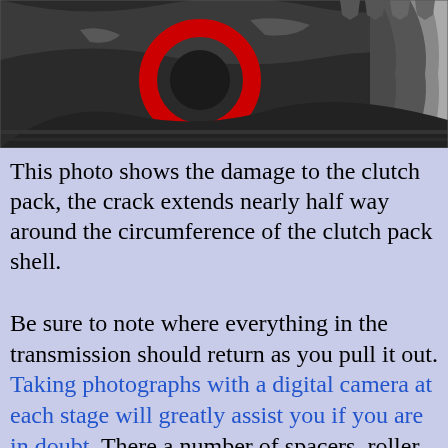[Figure (photo): Close-up photograph of a damaged clutch pack showing a cracked clutch pack shell with a red circular element visible and shiny metallic components]
This photo shows the damage to the clutch pack, the crack extends nearly half way around the circumference of the clutch pack shell.
Be sure to note where everything in the transmission should return as you pull it out. Taking photographs with a digital camera at each stage will greatly assist you if you are in doubt. There a number of spacers, roller bearings, pins and other bits that are pretty easy to lose track of where they belong